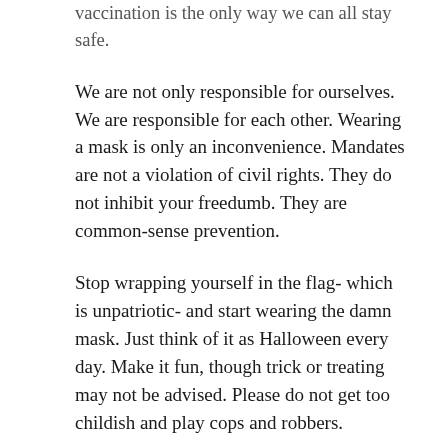vaccination is the only way we can all stay safe.
We are not only responsible for ourselves. We are responsible for each other. Wearing a mask is only an inconvenience. Mandates are not a violation of civil rights. They do not inhibit your freedumb. They are common-sense prevention.
Stop wrapping yourself in the flag- which is unpatriotic- and start wearing the damn mask. Just think of it as Halloween every day. Make it fun, though trick or treating may not be advised. Please do not get too childish and play cops and robbers.
Freedumb has a long history. Illinois freedumb fighters fought seatbelt, motorcycle helmets, and TSA mandates, along with a host of other directives, laws, or advice to keep people safe. Look how many people refuse to heed safety advice to wear helmets while